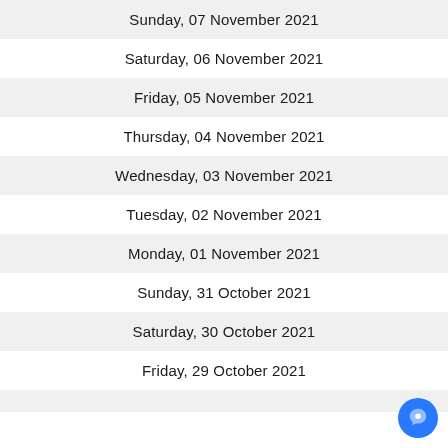Sunday, 07 November 2021
Saturday, 06 November 2021
Friday, 05 November 2021
Thursday, 04 November 2021
Wednesday, 03 November 2021
Tuesday, 02 November 2021
Monday, 01 November 2021
Sunday, 31 October 2021
Saturday, 30 October 2021
Friday, 29 October 2021